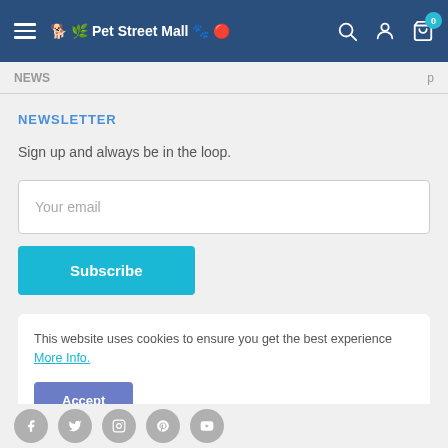Pet Street Mall
NEWSLETTER
Sign up and always be in the loop.
Your email
Subscribe
This website uses cookies to ensure you get the best experience More Info.
Accept